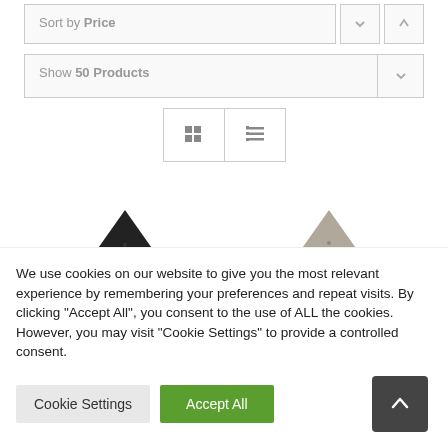Sort by Price
Show 50 Products
[Figure (screenshot): Grid and list view toggle buttons]
[Figure (photo): Two triangular product mat samples — one dark/black textured and one grey/beige textured — partially visible at bottom of product listing area]
We use cookies on our website to give you the most relevant experience by remembering your preferences and repeat visits. By clicking "Accept All", you consent to the use of ALL the cookies. However, you may visit "Cookie Settings" to provide a controlled consent.
Cookie Settings
Accept All